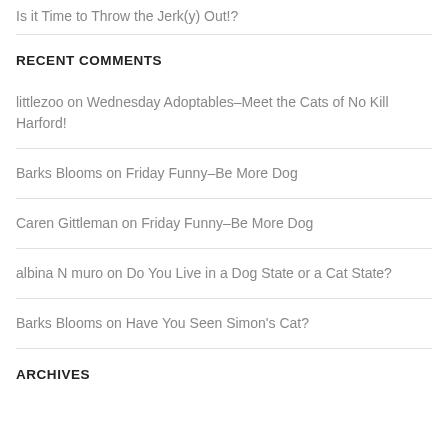Is it Time to Throw the Jerk(y) Out!?
RECENT COMMENTS
littlezoo on Wednesday Adoptables–Meet the Cats of No Kill Harford!
Barks Blooms on Friday Funny–Be More Dog
Caren Gittleman on Friday Funny–Be More Dog
albina N muro on Do You Live in a Dog State or a Cat State?
Barks Blooms on Have You Seen Simon's Cat?
ARCHIVES